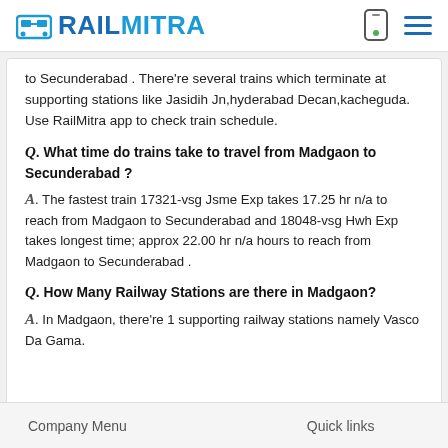RAILMITRA
to Secunderabad . There're several trains which terminate at supporting stations like Jasidih Jn,hyderabad Decan,kacheguda. Use RailMitra app to check train schedule.
Q. What time do trains take to travel from Madgaon to Secunderabad ?
A. The fastest train 17321-vsg Jsme Exp takes 17.25 hr n/a to reach from Madgaon to Secunderabad and 18048-vsg Hwh Exp takes longest time; approx 22.00 hr n/a hours to reach from Madgaon to Secunderabad .
Q. How Many Railway Stations are there in Madgaon?
A. In Madgaon, there're 1 supporting railway stations namely Vasco Da Gama.
Company Menu    Quick links